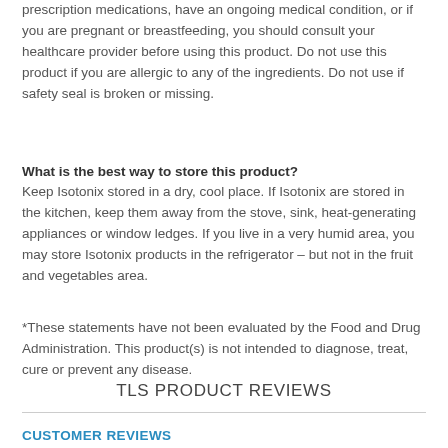prescription medications, have an ongoing medical condition, or if you are pregnant or breastfeeding, you should consult your healthcare provider before using this product. Do not use this product if you are allergic to any of the ingredients. Do not use if safety seal is broken or missing.
What is the best way to store this product?
Keep Isotonix stored in a dry, cool place. If Isotonix are stored in the kitchen, keep them away from the stove, sink, heat-generating appliances or window ledges. If you live in a very humid area, you may store Isotonix products in the refrigerator – but not in the fruit and vegetables area.
*These statements have not been evaluated by the Food and Drug Administration. This product(s) is not intended to diagnose, treat, cure or prevent any disease.
TLS PRODUCT REVIEWS
CUSTOMER REVIEWS